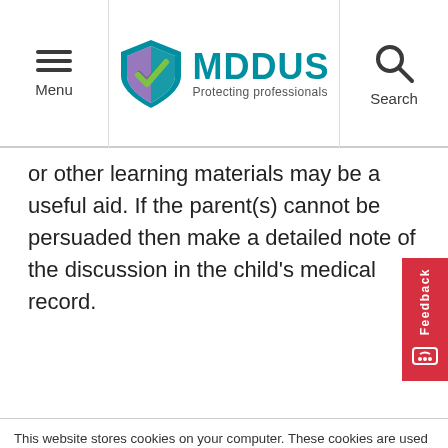Menu | MDDUS Protecting professionals | Search
or other learning materials may be a useful aid. If the parent(s) cannot be persuaded then make a detailed note of the discussion in the child's medical record.
PATIENT CONTACTS
This website stores cookies on your computer. These cookies are used to collect information about how you interact with our website and allow us to remember you. We use this information in order to improve and customize your browsing experience and for analytics and metrics about our visitors both on this website and other media. To find out more about the cookies we use, see our Privacy Notice. For more information on cookies and how to manage, delete and disable them please visit https://www.allaboutcookies.org/